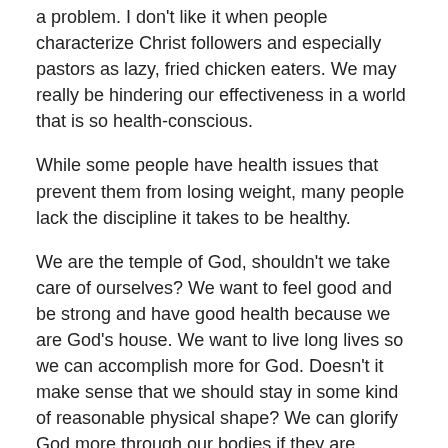a problem. I don't like it when people characterize Christ followers and especially pastors as lazy, fried chicken eaters. We may really be hindering our effectiveness in a world that is so health-conscious.
While some people have health issues that prevent them from losing weight, many people lack the discipline it takes to be healthy.
We are the temple of God, shouldn't we take care of ourselves? We want to feel good and be strong and have good health because we are God's house. We want to live long lives so we can accomplish more for God. Doesn't it make sense that we should stay in some kind of reasonable physical shape? We can glorify God more through our bodies if they are healthy.